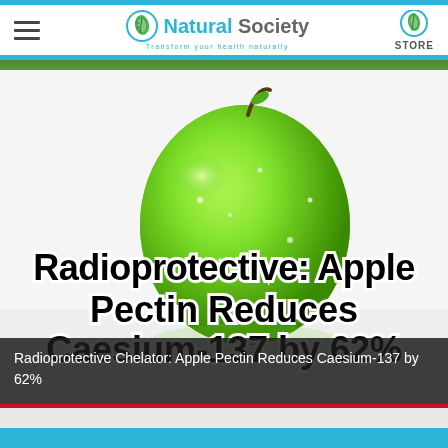Natural Society — Transform your health naturally | STORE
[Figure (photo): Green apple with water droplets on a reflective surface, with bold white-outlined black text overlay reading 'Radioprotective: Apple Pectin Reduces Caesium-137 by 62%']
Radioprotective Chelator: Apple Pectin Reduces Caesium-137 by 62%